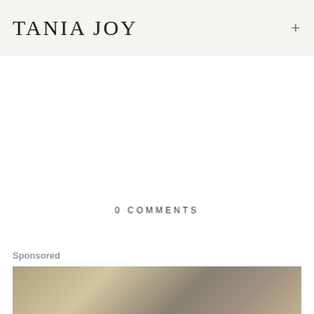TANIA JOY
0 COMMENTS
Sponsored
[Figure (photo): Sponsored content photo showing food (baked goods) on a kitchen counter with blurred background]